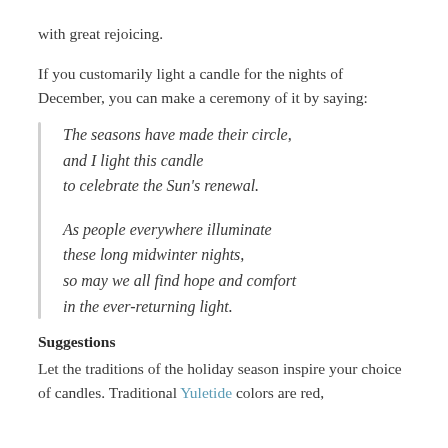with great rejoicing.
If you customarily light a candle for the nights of December, you can make a ceremony of it by saying:
The seasons have made their circle,
and I light this candle
to celebrate the Sun's renewal.

As people everywhere illuminate
these long midwinter nights,
so may we all find hope and comfort
in the ever-returning light.
Suggestions
Let the traditions of the holiday season inspire your choice of candles. Traditional Yuletide colors are red,